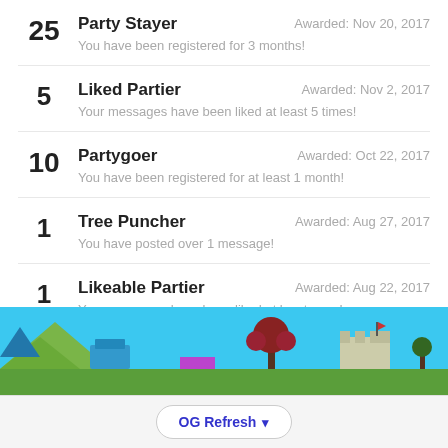25 | Party Stayer | Awarded: Nov 20, 2017 | You have been registered for 3 months!
5 | Liked Partier | Awarded: Nov 2, 2017 | Your messages have been liked at least 5 times!
10 | Partygoer | Awarded: Oct 22, 2017 | You have been registered for at least 1 month!
1 | Tree Puncher | Awarded: Aug 27, 2017 | You have posted over 1 message!
1 | Likeable Partier | Awarded: Aug 22, 2017 | Your messages have been liked at least once!
Total Points: 1,907
View All Available Trophies
[Figure (screenshot): Game banner with blue sky background and colorful pixel-art game scene with trees, flowers, and castle structures]
OG Refresh ▾